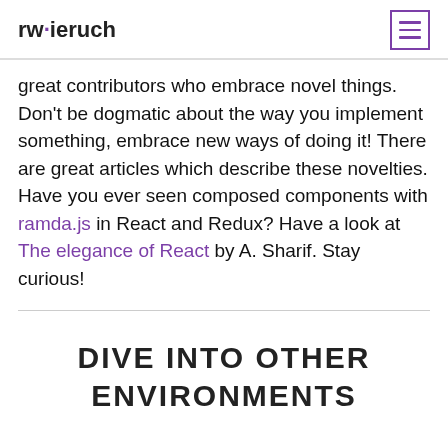rwieruch
great contributors who embrace novel things. Don't be dogmatic about the way you implement something, embrace new ways of doing it! There are great articles which describe these novelties. Have you ever seen composed components with ramda.js in React and Redux? Have a look at The elegance of React by A. Sharif. Stay curious!
DIVE INTO OTHER ENVIRONMENTS